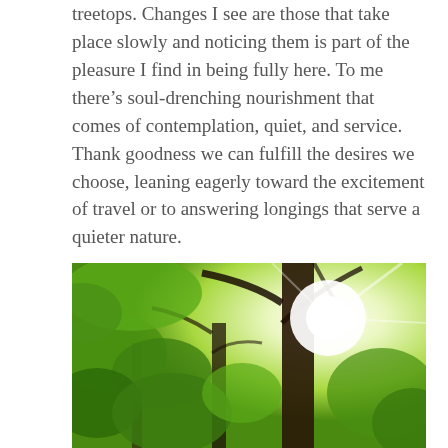treetops. Changes I see are those that take place slowly and noticing them is part of the pleasure I find in being fully here. To me there's soul-drenching nourishment that comes of contemplation, quiet, and service. Thank goodness we can fulfill the desires we choose, leaning eagerly toward the excitement of travel or to answering longings that serve a quieter nature.
You know where to find me. I'm right here.
[Figure (photo): A nature photo taken looking up through tree canopy with bright sunlight bursting through dark tree trunks, surrounded by lush green leaves.]